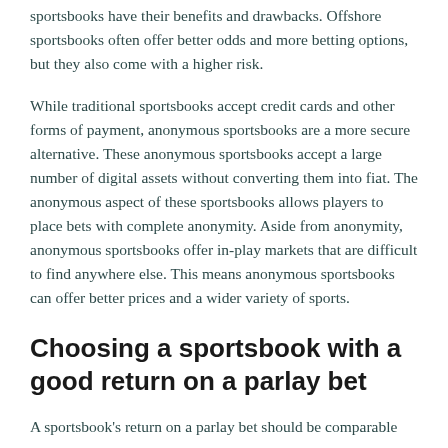sportsbooks have their benefits and drawbacks. Offshore sportsbooks often offer better odds and more betting options, but they also come with a higher risk.
While traditional sportsbooks accept credit cards and other forms of payment, anonymous sportsbooks are a more secure alternative. These anonymous sportsbooks accept a large number of digital assets without converting them into fiat. The anonymous aspect of these sportsbooks allows players to place bets with complete anonymity. Aside from anonymity, anonymous sportsbooks offer in-play markets that are difficult to find anywhere else. This means anonymous sportsbooks can offer better prices and a wider variety of sports.
Choosing a sportsbook with a good return on a parlay bet
A sportsbook’s return on a parlay bet should be comparable